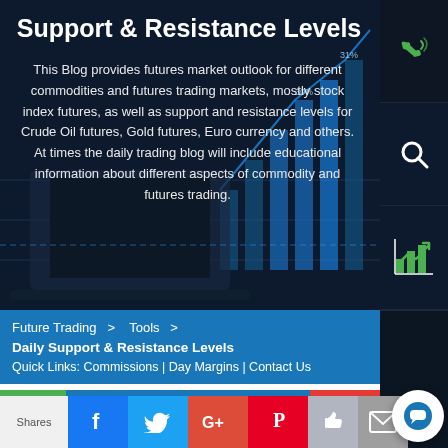Support & Resistance Levels
This Blog provides futures market outlook for different commodities and futures trading markets, mostly stock index futures, as well as support and resistance levels for Crude Oil futures, Gold futures, Euro currency and others. At times the daily trading blog will include educational information about different aspects of commodity and futures trading.
[Figure (screenshot): Dark themed background with laptop and financial chart graphics]
[Figure (infographic): Green phone icon on dark navy background]
[Figure (infographic): White magnifying glass (search) icon on dark navy background]
[Figure (infographic): Green bar chart with upward arrow icon on dark navy background]
Future Trading  >  Tools  >
Daily Support & Resistance Levels
Quick Links: Commissions | Day Margins | Contact Us
[Figure (infographic): Social sharing bar with Facebook, Twitter, Google+, Pinterest, Like, and Email buttons. Also shows Shares label and chat bubble icon.]